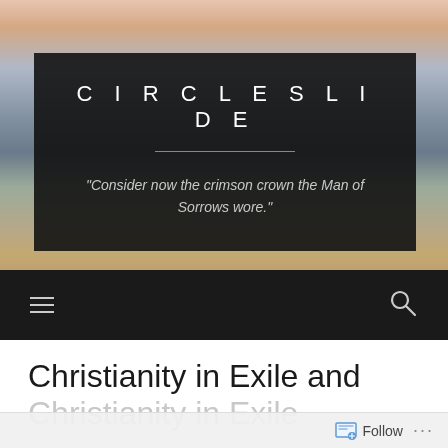[Figure (photo): Coastal beach scene with sky at dusk, pink and peach tones in upper sky, blue-grey ocean water, sandy beach in lower portion]
CIRCLESLIDE
"Consider now the crimson crown the Man of Sorrows wore."
Christianity in Exile and Christianity in Exile